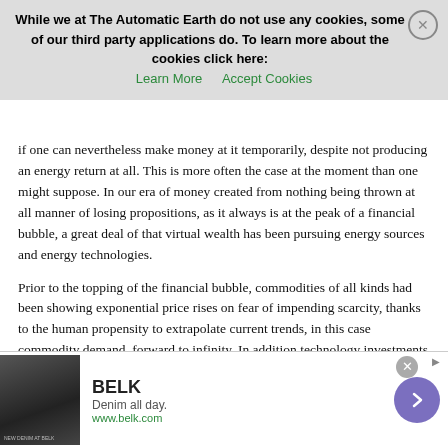if one can nevertheless make money at it temporarily, despite not producing an energy return at all. This is more often the case at the moment than one might suppose. In our era of money created from nothing being thrown at all manner of losing propositions, as it always is at the peak of a financial bubble, a great deal of that virtual wealth has been pursuing energy sources and energy technologies.
Prior to the topping of the financial bubble, commodities of all kinds had been showing exponential price rises on fear of impending scarcity, thanks to the human propensity to extrapolate current trends, in this case commodity demand, forward to infinity. In addition technology investments of all kinds were highly fashionable, and able to attract investment without the inconvenient need to answer difficult questions. The combination of energy and technology was apparently
[Figure (other): Cookie consent banner overlay: 'While we at The Automatic Earth do not use any cookies, some of our third party applications do. To learn more about the cookies click here: Learn More | Accept Cookies' with a close (X) button.]
[Figure (other): Advertisement banner for BELK: 'Denim all day. www.belk.com' with fashion image on left and purple arrow button on right.]